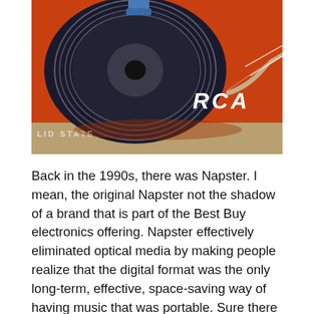[Figure (photo): Close-up photograph of an RCA Solid State reel-to-reel tape recorder or player, showing a reel of magnetic tape with a blue tape guide/head, on an orange/red background with the RCA logo and 'SOLID STATE' text visible.]
Back in the 1990s, there was Napster. I mean, the original Napster not the shadow of a brand that is part of the Best Buy electronics offering. Napster effectively eliminated optical media by making people realize that the digital format was the only long-term, effective, space-saving way of having music that was portable. Sure there [...]